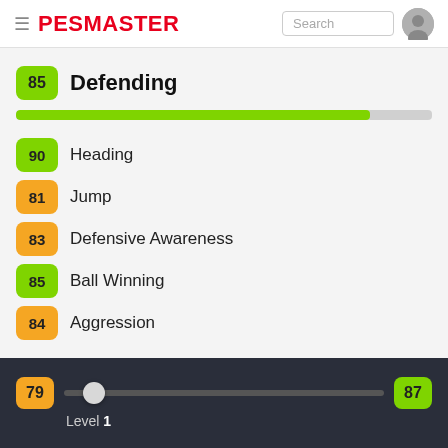PESMASTER
85 Defending
90 Heading
81 Jump
83 Defensive Awareness
85 Ball Winning
84 Aggression
79  87  Level 1